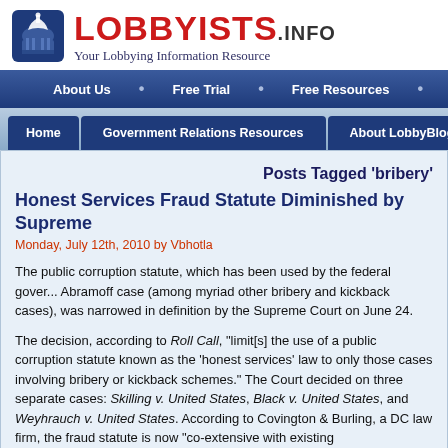[Figure (logo): Lobbyists.info logo with capitol building icon, red LOBBYISTS.INFO text and blue tagline 'Your Lobbying Information Resource']
About Us · Free Trial · Free Resources
Home | Government Relations Resources | About LobbyBlog
Posts Tagged 'bribery'
Honest Services Fraud Statute Diminished by Supreme Court
Monday, July 12th, 2010 by Vbhotla
The public corruption statute, which has been used by the federal government in the Abramoff case (among myriad other bribery and kickback cases), was narrowed in definition by the Supreme Court on June 24.
The decision, according to Roll Call, "limit[s] the use of a public corruption statute known as the 'honest services' law to only those cases involving bribery or kickback schemes."  The Court decided on three separate cases: Skilling v. United States, Black v. United States, and Weyhrauch v. United States. According to Covington & Burling, a DC law firm, the fraud statute is now "co-extensive with existing bribery..."